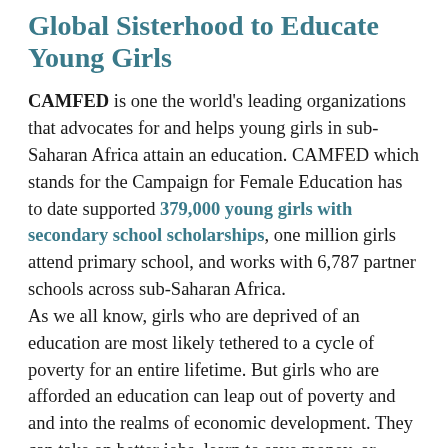Global Sisterhood to Educate Young Girls
CAMFED is one the world's leading organizations that advocates for and helps young girls in sub-Saharan Africa attain an education. CAMFED which stands for the Campaign for Female Education has to date supported 379,000 young girls with secondary school scholarships, one million girls attend primary school, and works with 6,787 partner schools across sub-Saharan Africa. As we all know, girls who are deprived of an education are most likely tethered to a cycle of poverty for an entire lifetime. But girls who are afforded an education can leap out of poverty and and into the realms of economic development. They can take on better jobs, learn to save money, or become entrepreneurs. Women who are educated take better care of their individual environments and therefore take on climate change. And studies